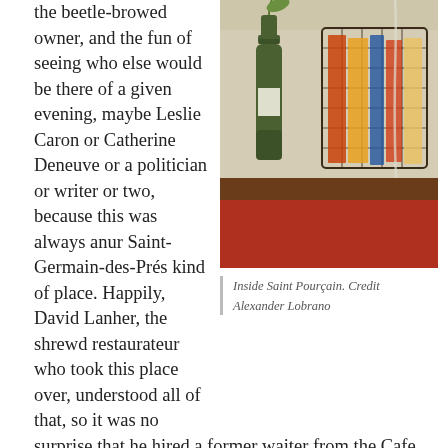the beetle-browed owner, and the fun of seeing who else would be there of a given evening, maybe Leslie Caron or Catherine Deneuve or a politician or writer or two, because this was always anur Saint-Germain-des-Prés kind of place. Happily, David Lanher, the shrewd restaurateur who took this place over, understood all of that, so it was no surprise that he hired a former waiter from the Cafe de Flore to run the dining room, and no one in the dining room did more than bat a complicit eye lash or five the other night when François-Marie Banier came through the door with two friends (and if you don't know who he is, you can read more
[Figure (photo): Photo of inside Saint Pourçain restaurant showing a green wine bottle with a plant stem, a wire basket with magazines/menus, on a wooden shelf above a red tablecloth.]
Inside Saint Pourçain. Credit Alexander Lobrano